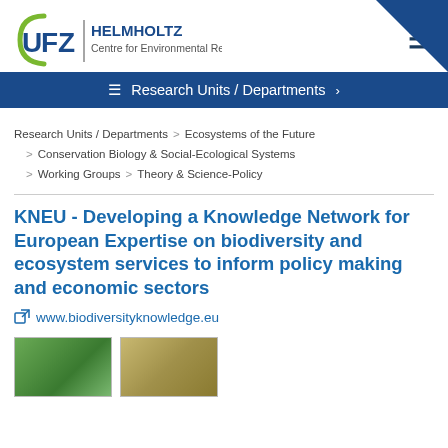[Figure (logo): UFZ Helmholtz Centre for Environmental Research logo]
Research Units / Departments
Research Units / Departments > Ecosystems of the Future > Conservation Biology & Social-Ecological Systems > Working Groups > Theory & Science-Policy
KNEU - Developing a Knowledge Network for European Expertise on biodiversity and ecosystem services to inform policy making and economic sectors
www.biodiversityknowledge.eu
[Figure (photo): Two thumbnail photos at the bottom of the page]